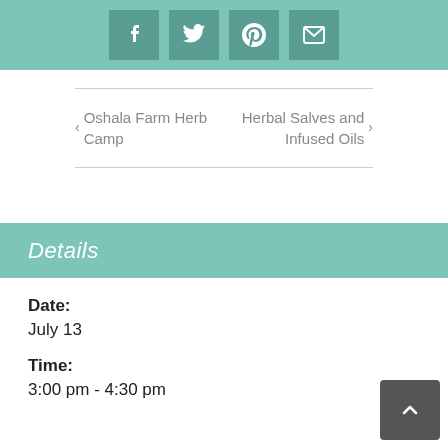[Figure (other): Social media share icons bar with Facebook, Twitter, Pinterest, and Email icons on teal background]
← Oshala Farm Herb Camp
Herbal Salves and Infused Oils →
Details
Date:
July 13
Time:
3:00 pm - 4:30 pm